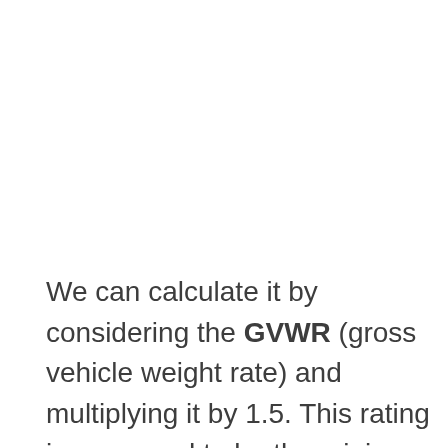We can calculate it by considering the GVWR (gross vehicle weight rate) and multiplying it by 1.5. This rating is supposed to be the minimum